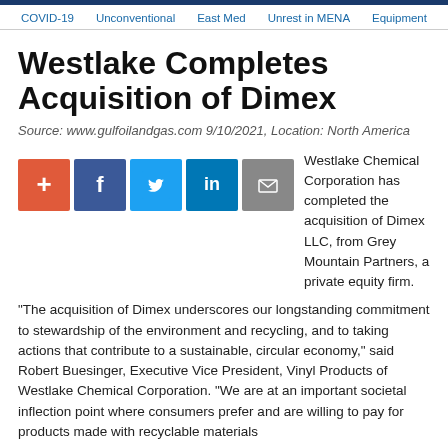COVID-19   Unconventional   East Med   Unrest in MENA   Equipment
Westlake Completes Acquisition of Dimex
Source: www.gulfoilandgas.com 9/10/2021, Location: North America
[Figure (other): Social sharing buttons: Add (+), Facebook (f), Twitter bird, LinkedIn (in), Email (envelope)]
Westlake Chemical Corporation has completed the acquisition of Dimex LLC, from Grey Mountain Partners, a private equity firm.
“The acquisition of Dimex underscores our longstanding commitment to stewardship of the environment and recycling, and to taking actions that contribute to a sustainable, circular economy,” said Robert Buesinger, Executive Vice President, Vinyl Products of Westlake Chemical Corporation. “We are at an important societal inflection point where consumers prefer and are willing to pay for products made with recyclable materials